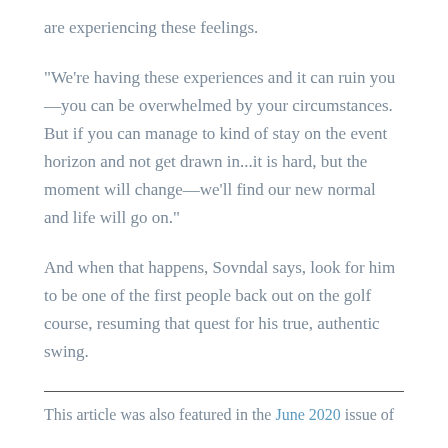are experiencing these feelings.
“We’re having these experiences and it can ruin you—you can be overwhelmed by your circumstances. But if you can manage to kind of stay on the event horizon and not get drawn in…it is hard, but the moment will change—we’ll find our new normal and life will go on.”
And when that happens, Sovndal says, look for him to be one of the first people back out on the golf course, resuming that quest for his true, authentic swing.
This article was also featured in the June 2020 issue of Golf...